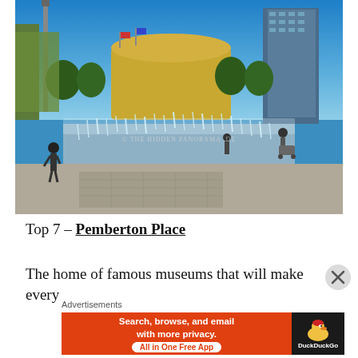[Figure (photo): Outdoor urban plaza with fountains spraying water, people walking, city skyline with tall buildings and blue sky in the background. Watermark reads '© THE HIDDEN PANORAMA .DE']
Top 7 – Pemberton Place
The home of famous museums that will make every
Advertisements
[Figure (screenshot): DuckDuckGo advertisement: 'Search, browse, and email with more privacy. All in One Free App' on orange background with DuckDuckGo logo on dark background.]